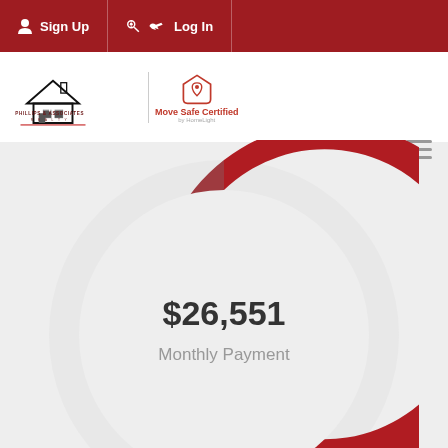Sign Up  Log In
[Figure (logo): Phillips & Associates Realty logo with Move Safe Certified by HomeLight badge]
[Figure (donut-chart): Monthly Payment]